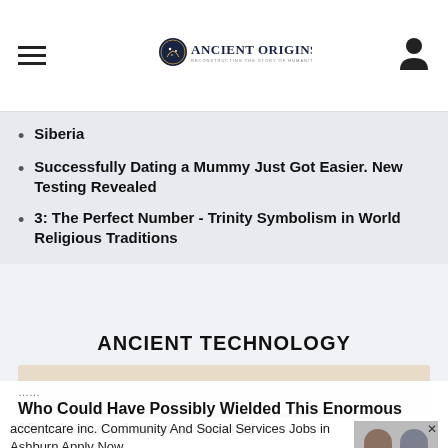Ancient Origins — Reconstructing the story of humanity's past
Siberia
Successfully Dating a Mummy Just Got Easier. New Testing Revealed
3: The Perfect Number - Trinity Symbolism in World Religious Traditions
ANCIENT TECHNOLOGY
[Figure (photo): A large curved Japanese sword displayed on wooden supports, with a person leaning over to examine it]
accentcare inc. Community And Social Services Jobs in Ashburn Apply Now jobble.com
Who Could Have Possibly Wielded This Enormous 15th Century Japanese Sword?